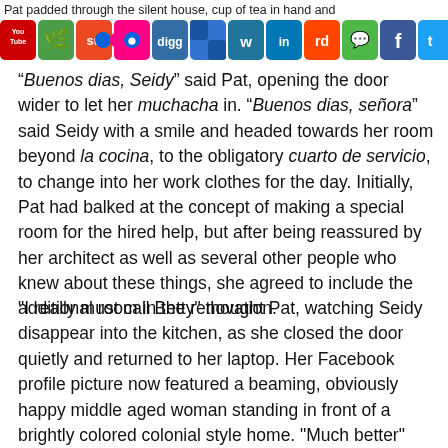Pat padded through the silent house, cup of tea in hand and
[Figure (screenshot): Social media sharing icons toolbar including YouTube, green leaf, StumbleUpon, Flickr, Digg, Delicious, Wordpress, LinkedIn, Reddit, iMessage, Facebook, Twitter, RSS feed]
“Buenos dias, Seidy” said Pat, opening the door wider to let her muchacha in. “Buenos dias, señora” said Seidy with a smile and headed towards her room beyond la cocina, to the obligatory cuarto de servicio, to change into her work clothes for the day. Initially, Pat had balked at the concept of making a special room for the hired help, but after being reassured by her architect as well as several other people who knew about these things, she agreed to include the additional room in the renovation.
“I really must call Betty” thought Pat, watching Seidy disappear into the kitchen, as she closed the door quietly and returned to her laptop. Her Facebook profile picture now featured a beaming, obviously happy middle aged woman standing in front of a brightly colored colonial style home. “Much better” thought Pat, closing the laptop